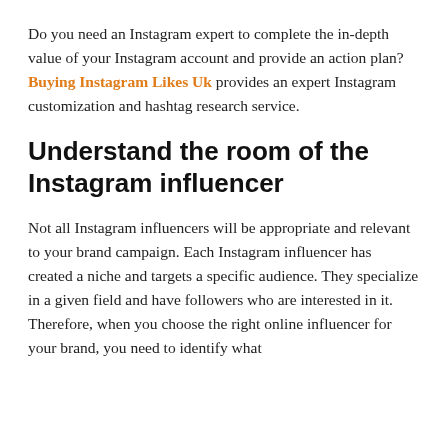Do you need an Instagram expert to complete the in-depth value of your Instagram account and provide an action plan? Buying Instagram Likes Uk provides an expert Instagram customization and hashtag research service.
Understand the room of the Instagram influencer
Not all Instagram influencers will be appropriate and relevant to your brand campaign. Each Instagram influencer has created a niche and targets a specific audience. They specialize in a given field and have followers who are interested in it. Therefore, when you choose the right online influencer for your brand, you need to identify what